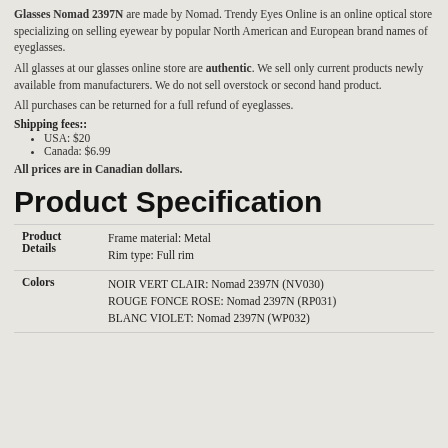Glasses Nomad 2397N are made by Nomad. Trendy Eyes Online is an online optical store specializing on selling eyewear by popular North American and European brand names of eyeglasses.
All glasses at our glasses online store are authentic. We sell only current products newly available from manufacturers. We do not sell overstock or second hand product.
All purchases can be returned for a full refund of eyeglasses.
Shipping fees::
USA: $20
Canada: $6.99
All prices are in Canadian dollars.
Product Specification
|  |  |
| --- | --- |
| Product Details | Frame material: Metal
Rim type: Full rim |
| Colors | NOIR VERT CLAIR: Nomad 2397N (NV030)
ROUGE FONCE ROSE: Nomad 2397N (RP031)
BLANC VIOLET: Nomad 2397N (WP032) |